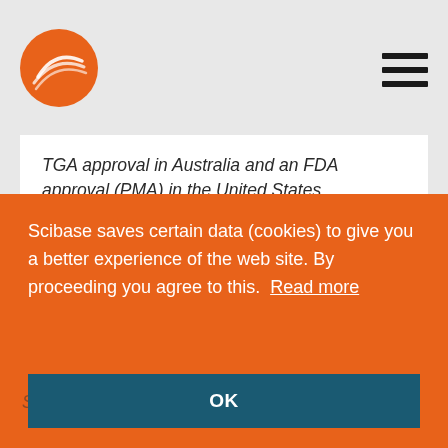Scibase logo and navigation
TGA approval in Australia and an FDA approval (PMA) in the United States. Nevisense is based on a method called Electrical Impedance Spectroscopy (EIS), which uses the varying electrical properties of human tissue to categorize cellular structures and thereby detect malignancies and abnormalities. SciBase is listed on First North Growth Market
Scibase saves certain data (cookies) to give you a better experience of the web site. By proceeding you agree to this.  Read more
OK